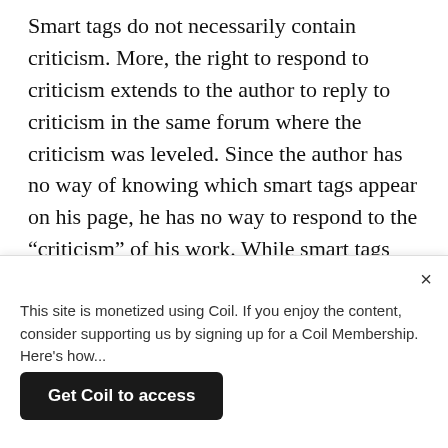Smart tags do not necessarily contain criticism. More, the right to respond to criticism extends to the author to reply to criticism in the same forum where the criticism was leveled. Since the author has no way of knowing which smart tags appear on his page, he has no way to respond to the “criticism” of his work. While smart tags might allow an author to link his response from a critical page, there would be no way to ensure that readers of the page saw the response unless the owner of the critical page embedded the smart tag in that page. Even so, readers using other browsers or browsing with smart tags disabled
This site is monetized using Coil. If you enjoy the content, consider supporting us by signing up for a Coil Membership. Here’s how...
Get Coil to access